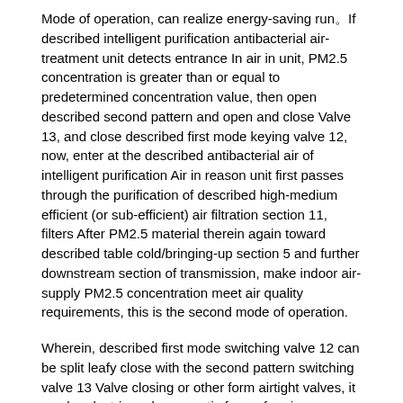Mode of operation, can realize energy-saving run。If described intelligent purification antibacterial air-treatment unit detects entrance In air in unit, PM2.5 concentration is greater than or equal to predetermined concentration value, then open described second pattern and open and close Valve 13, and close described first mode keying valve 12, now, enter at the described antibacterial air of intelligent purification Air in reason unit first passes through the purification of described high-medium efficient (or sub-efficient) air filtration section 11, filters After PM2.5 material therein again toward described table cold/bringing-up section 5 and further downstream section of transmission, make indoor air-supply PM2.5 concentration meet air quality requirements, this is the second mode of operation.
Wherein, described first mode switching valve 12 can be split leafy close with the second pattern switching valve 13 Valve closing or other form airtight valves, it can be electric and pneumatic for performing power.
Different according to the air source that air-treatment unit processes, the present invention is applicable to the air-treatment of location, unit Unit and the 5 sub-band air-